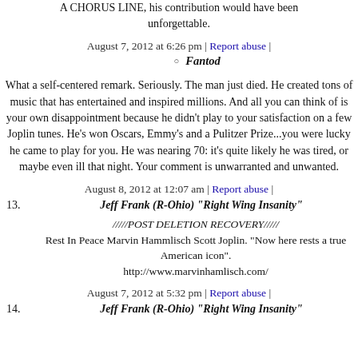A CHORUS LINE, his contribution would have been unforgettable.
August 7, 2012 at 6:26 pm | Report abuse |
Fantod
What a self-centered remark. Seriously. The man just died. He created tons of music that has entertained and inspired millions. And all you can think of is your own disappointment because he didn't play to your satisfaction on a few Joplin tunes. He's won Oscars, Emmy's and a Pulitzer Prize...you were lucky he came to play for you. He was nearing 70: it's quite likely he was tired, or maybe even ill that night. Your comment is unwarranted and unwanted.
August 8, 2012 at 12:07 am | Report abuse |
13. Jeff Frank (R-Ohio) "Right Wing Insanity"
/////POST DELETION RECOVERY///// Rest In Peace Marvin Hammlisch Scott Joplin. "Now here rests a true American icon". http://www.marvinhamlisch.com/
August 7, 2012 at 5:32 pm | Report abuse |
14. Jeff Frank (R-Ohio) "Right Wing Insanity"